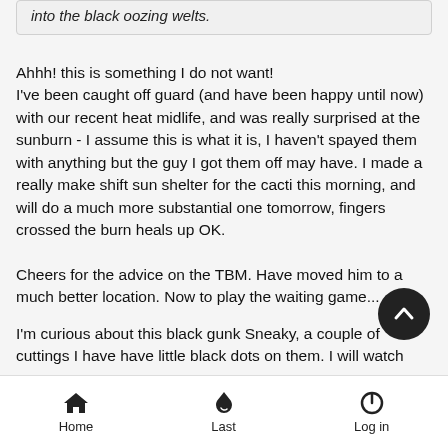into the black oozing welts.
Ahhh! this is something I do not want!
I've been caught off guard (and have been happy until now) with our recent heat midlife, and was really surprised at the sunburn - I assume this is what it is, I haven't spayed them with anything but the guy I got them off may have. I made a really make shift sun shelter for the cacti this morning, and will do a much more substantial one tomorrow, fingers crossed the burn heals up OK.
Cheers for the advice on the TBM. Have moved him to a much better location. Now to play the waiting game...
I'm curious about this black gunk Sneaky, a couple of cuttings I have have little black dots on them. I will watch these cacti with interest (and trepidation). Will post back in a few months the results of this burn and if those black dots of mine have changed
Home    Last    Log in